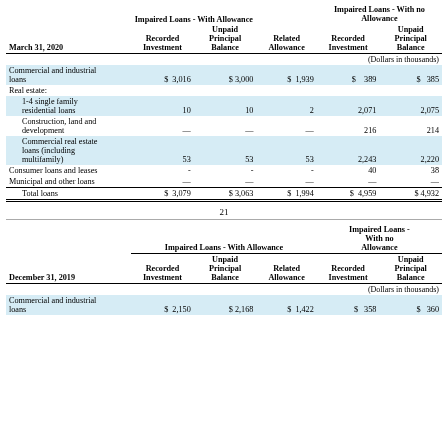| March 31, 2020 | Recorded Investment | Unpaid Principal Balance | Related Allowance | Recorded Investment | Unpaid Principal Balance |
| --- | --- | --- | --- | --- | --- |
| (Dollars in thousands) |  |  |  |  |  |
| Commercial and industrial loans | $ 3,016 | $ 3,000 | $ 1,939 | $ 389 | $ 385 |
| Real estate: |  |  |  |  |  |
| 1-4 single family residential loans | 10 | 10 | 2 | 2,071 | 2,075 |
| Construction, land and development | — | — | — | 216 | 214 |
| Commercial real estate loans (including multifamily) | 53 | 53 | 53 | 2,243 | 2,220 |
| Consumer loans and leases | - | - | - | 40 | 38 |
| Municipal and other loans | — | — | — | — | — |
| Total loans | $ 3,079 | $ 3,063 | $ 1,994 | $ 4,959 | $ 4,932 |
21
| December 31, 2019 | Recorded Investment | Unpaid Principal Balance | Related Allowance | Recorded Investment | Unpaid Principal Balance |
| --- | --- | --- | --- | --- | --- |
| (Dollars in thousands) |  |  |  |  |  |
| Commercial and industrial loans | $ 2,150 | $ 2,168 | $ 1,422 | $ 358 | $ 360 |